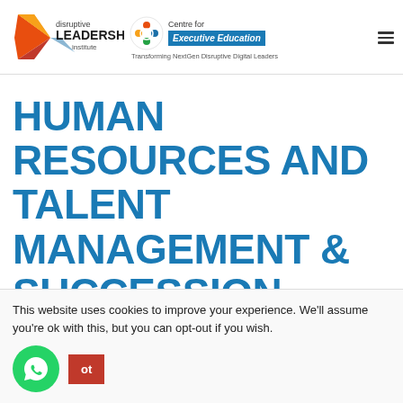[Figure (logo): Disruptive Leadership Institute logo with orange/red arrow graphic and text 'disruptive LEADERSHIP institute']
[Figure (logo): Centre for Executive Education logo with circular people icon, blue badge reading 'Executive Education', tagline 'Transforming NextGen Disruptive Digital Leaders']
HUMAN RESOURCES AND TALENT MANAGEMENT & SUCCESSION PLANNING
Course & Curriculum Pl...
This website uses cookies to improve your experience. We'll assume you're ok with this, but you can opt-out if you wish.